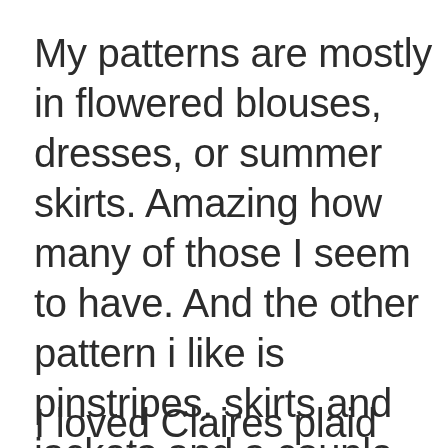My patterns are mostly in flowered blouses, dresses, or summer skirts. Amazing how many of those I seem to have. And the other pattern i like is pinstripes. skirts and jackets and a couple tshirts. Funny how consistent I am in these things when I really think about it.
I loved Claires plaid shirts for summ...